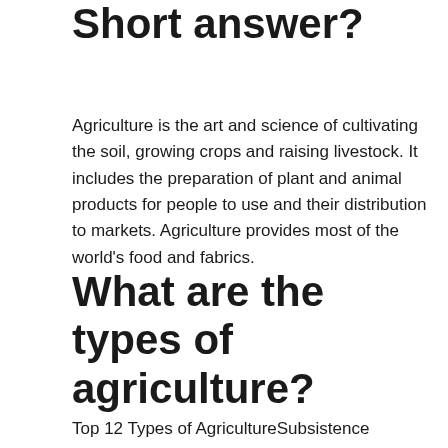Short answer?
Agriculture is the art and science of cultivating the soil, growing crops and raising livestock. It includes the preparation of plant and animal products for people to use and their distribution to markets. Agriculture provides most of the world's food and fabrics.
What are the types of agriculture?
Top 12 Types of AgricultureSubsistence